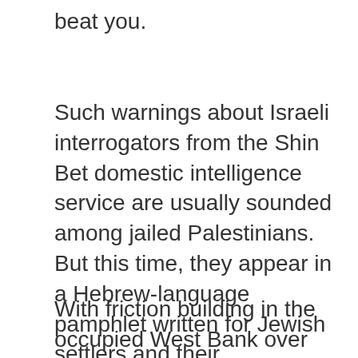beat you.
Such warnings about Israeli interrogators from the Shin Bet domestic intelligence service are usually sounded among jailed Palestinians. But this time, they appear in a Hebrew-language pamphlet written for Jewish settlers and their sympathizers.
With friction building in the occupied West Bank over the prospect — albeit distant — of a Palestinian state, the Shin Bet is quietly knuckling down on Jews who might turn to violence to try to wreck any future